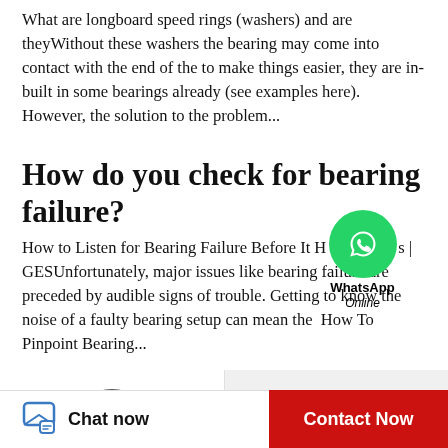What are longboard speed rings (washers) and are theyWithout these washers the bearing may come into contact with the end of the to make things easier, they are in-built in some bearings already (see examples here). However, the solution to the problem...
How do you check for bearing failure?
How to Listen for Bearing Failure Before It Happens | GESUnfortunately, major issues like bearing failure are preceded by audible signs of trouble. Getting to know the noise of a faulty bearing setup can mean the How To Pinpoint Bearing...
[Figure (other): WhatsApp Online overlay with green circle phone icon and text WhatsApp Online]
Recommended Products
[Figure (photo): Two product images side by side at the bottom of the page, showing dark round products (possibly bearings or wheels)]
Chat now   Contact Now